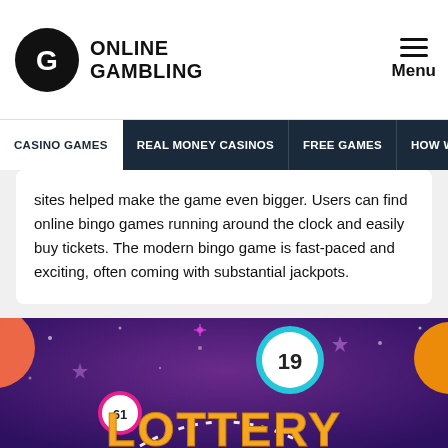Online Gambling — Menu
CASINO GAMES | REAL MONEY CASINOS | FREE GAMES | HOW WE RA...
sites helped make the game even bigger. Users can find online bingo games running around the clock and easily buy tickets. The modern bingo game is fast-paced and exciting, often coming with substantial jackpots.
[Figure (illustration): Colorful lottery-themed illustration on dark purple space background with bingo balls numbered 19 and others, stars, and gold 'LOTTERY' text at the bottom.]